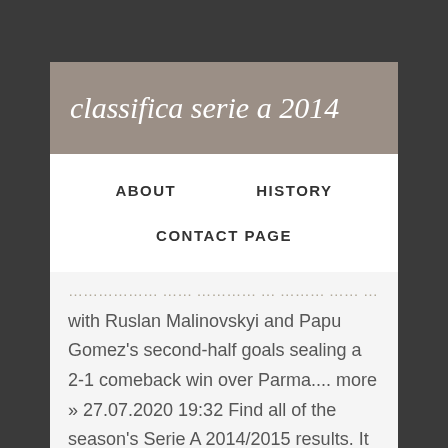classifica serie a 2014
ABOUT   HISTORY   CONTACT PAGE
with Ruslan Malinovskyi and Papu Gomez's second-half goals sealing a 2-1 comeback win over Parma.... more » 27.07.2020 19:32 Find all of the season's Serie A 2014/2015 results. It began on 25 August and ended on 19 May , ... Football Heads: 2014 World Cup. Panzerbar e Scarface